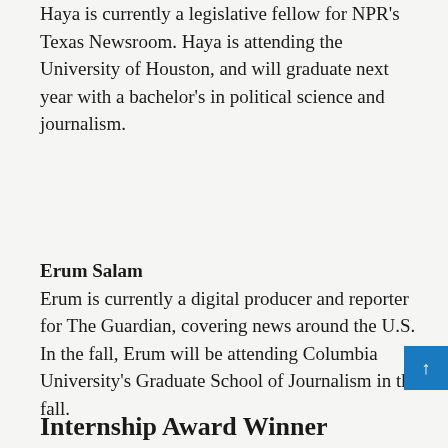Haya is currently a legislative fellow for NPR's Texas Newsroom. Haya is attending the University of Houston, and will graduate next year with a bachelor's in political science and journalism.
Erum Salam
Erum is currently a digital producer and reporter for The Guardian, covering news around the U.S. In the fall, Erum will be attending Columbia University's Graduate School of Journalism in the fall.
Sanjna Selva
Sanjna will be attending Columbia University's Graduate School of Journalism in the fall, where Sanjna will be in the documentary program.
Internship Award Winner